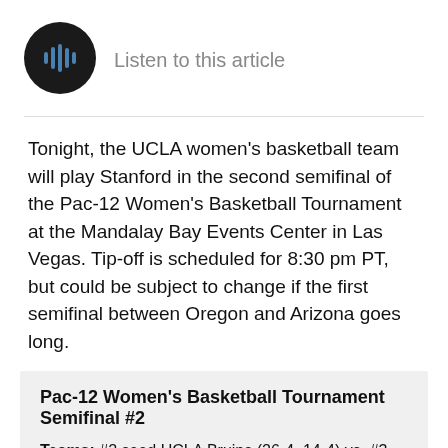[Figure (other): Audio play button: black circle with blue sound wave/play icon]
Listen to this article
Tonight, the UCLA women’s basketball team will play Stanford in the second semifinal of the Pac-12 Women’s Basketball Tournament at the Mandalay Bay Events Center in Las Vegas. Tip-off is scheduled for 8:30 pm PT, but could be subject to change if the first semifinal between Oregon and Arizona goes long.
Pac-12 Women’s Basketball Tournament Semifinal #2
Teams: #2 seed UCLA Bruins (26-4, 14-4) vs. #3 seed Stanford Cardinal (26-5, 14-4)
When: 8:30 pm PT, Saturday, March 7, 2020
Where: Mandalay Bay Events Center, Las Vegas, NV